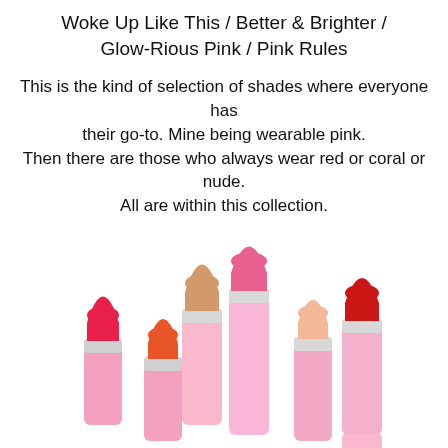Woke Up Like This / Better & Brighter / Glow-Rious Pink / Pink Rules
This is the kind of selection of shades where everyone has their go-to. Mine being wearable pink. Then there are those who always wear red or coral or nude. All are within this collection.
[Figure (photo): Six pink-cased lipsticks with various shades of bullet colors (red, pink, coral, nude, peach, hot pink) arranged in a fan/cluster on a white background]